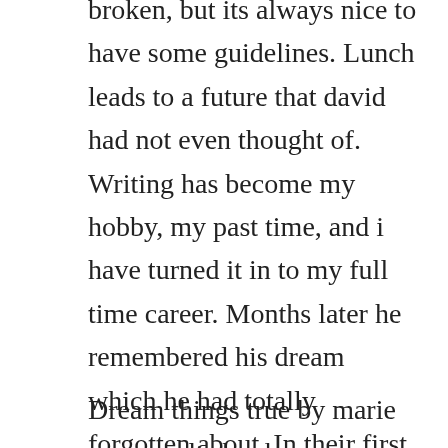broken, but its always nice to have some guidelines. Lunch leads to a future that david had not even thought of. Writing has become my hobby, my past time, and i have turned it in to my full time career. Months later he remembered his dream which he had totally forgotten about. In their first book, eric and leslie reminded singles that gods.
Dream things true by marie marquardt ebook summary download. This week, check out donna vanlieres book trailer for her new novel, the good dream july 3, 2012. This is the third installment of a 3part series im writing